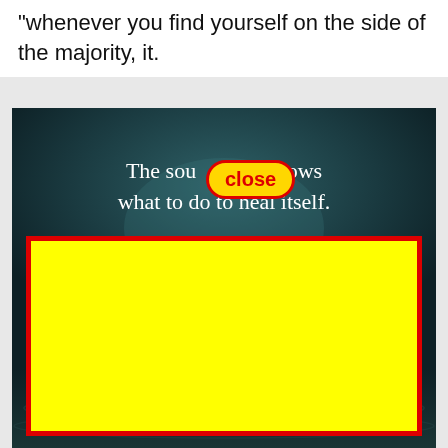"whenever you find yourself on the side of the majority, it.
[Figure (screenshot): Dark moody ocean/sky background image with white text reading 'The soul knows what to do to heal itself.' overlaid with a yellow 'close' button and a large yellow rectangle with red border covering the lower portion of the image.]